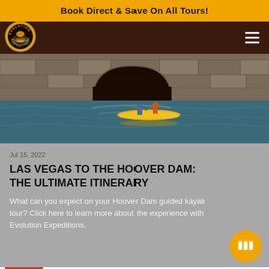Book Direct & Save On All Tours!
[Figure (logo): Evolution Expeditions circular logo with kayaker silhouette and mountain/arch scene]
[Figure (photo): Two kayakers in a yellow tandem kayak on calm water near a stone arch tunnel. The water reflects the surroundings.]
Jul 15, 2022
LAS VEGAS TO THE HOOVER DAM: THE ULTIMATE ITINERARY
What can you expect on your Hoover Dam guided kayak tour? Click here to learn more about the experience with Evolution Expeditions.